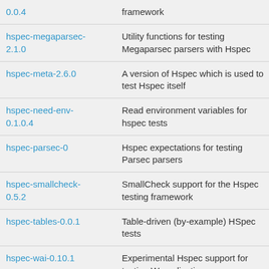| Package | Description |
| --- | --- |
| 0.0.4 | framework |
| hspec-megaparsec-2.1.0 | Utility functions for testing Megaparsec parsers with Hspec |
| hspec-meta-2.6.0 | A version of Hspec which is used to test Hspec itself |
| hspec-need-env-0.1.0.4 | Read environment variables for hspec tests |
| hspec-parsec-0 | Hspec expectations for testing Parsec parsers |
| hspec-smallcheck-0.5.2 | SmallCheck support for the Hspec testing framework |
| hspec-tables-0.0.1 | Table-driven (by-example) HSpec tests |
| hspec-wai-0.10.1 | Experimental Hspec support for testing WAI applications |
| hspec-wai-json-0.10.1 | Testing JSON APIs with hspec-wai |